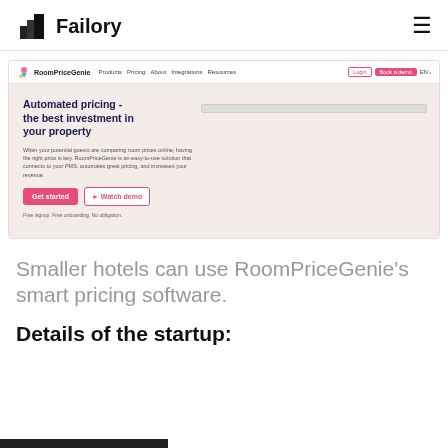Failory
[Figure (screenshot): Screenshot of RoomPriceGenie website showing navigation bar with Products, Pricing, About, Integrations, Resources links, Login and Book a demo buttons, and hero section with headline 'Automated pricing - the best investment in your property', body text about PMS connection, Get started and Watch demo buttons, and a chart on the right side]
Smaller hotels can use RoomPriceGenie's smart pricing software.
Details of the startup: